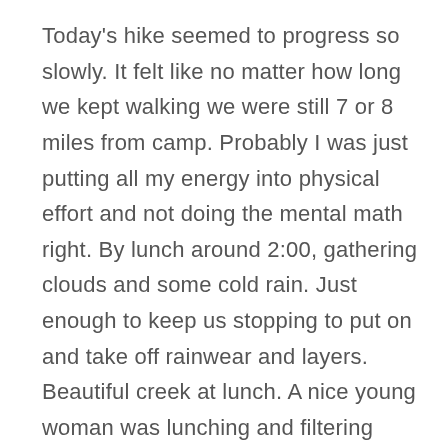Today's hike seemed to progress so slowly.  It felt like no matter how long we kept walking we were still 7 or 8 miles from camp.  Probably I was just putting all my energy into physical effort and not doing the mental math right.  By lunch around 2:00, gathering clouds and some cold rain. Just enough to keep us stopping to put on and take off rainwear and layers.  Beautiful creek at lunch. A nice young woman was lunching and filtering water and washing her feet at the crossing. Then more meandering forest.  The bikes are gone off on a detour around the Holy Cross and Mount Massive Wilderness Areas. We passed turnoffs to cabins for cross country skiers.  Those guys from Europe, and the young German woman, and the slack-bike-